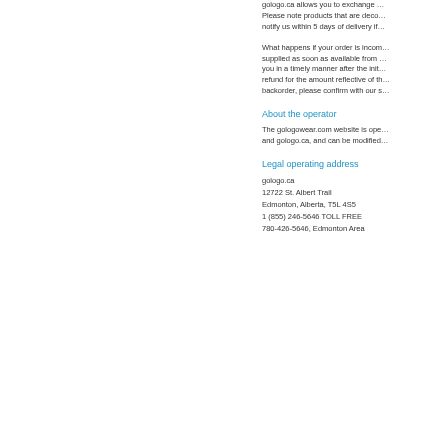gologo.ca allows you to exchange … Please note products that are deco… notify us within 5 days of delivery if…
What happens if your order is incom… supplied as soon as available from … you in a timely manner after the init… refund for the amount reflective of th… backorder, please confirm with our s…
About the operator
The gologowear.com website is ope… and gologo.ca, and can be modified…
Legal operating address
gologo.ca
12722 St. Albert Trail
Edmonton, Alberta, T5L 4S5
1 (855) 246-5646 TOLL FREE
780-426-5646, Edmonton Area